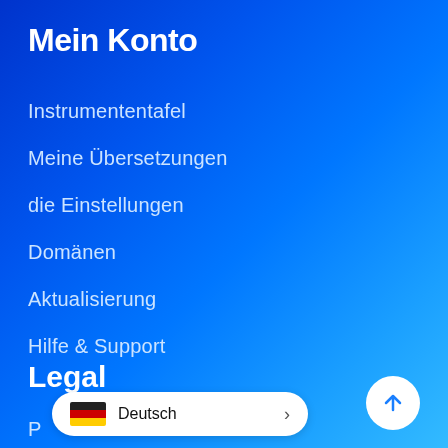Mein Konto
Instrumententafel
Meine Übersetzungen
die Einstellungen
Domänen
Aktualisierung
Hilfe & Support
Legal
P…
[Figure (other): Language selector pill with German flag and text 'Deutsch' and chevron arrow]
[Figure (other): White circular scroll-to-top button with upward arrow]